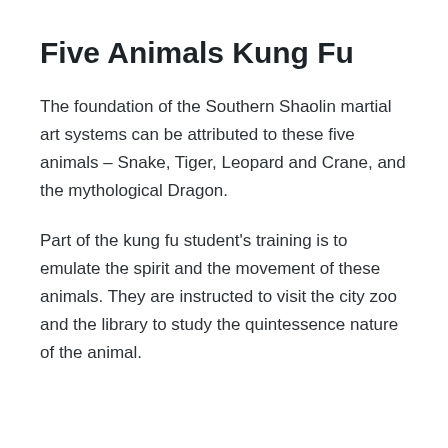Five Animals Kung Fu
The foundation of the Southern Shaolin martial art systems can be attributed to these five animals – Snake, Tiger, Leopard and Crane, and the mythological Dragon.
Part of the kung fu student's training is to emulate the spirit and the movement of these animals. They are instructed to visit the city zoo and the library to study the quintessence nature of the animal.